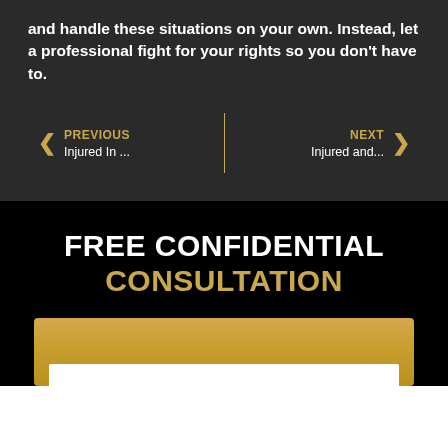and handle these situations on your own. Instead, let a professional fight for your rights so you don't have to.
PREVIOUS — Injured In ...
NEXT — Injured and...
FREE CONFIDENTIAL CONSULTATION
[Figure (other): Gold gradient form box with white input area at bottom]